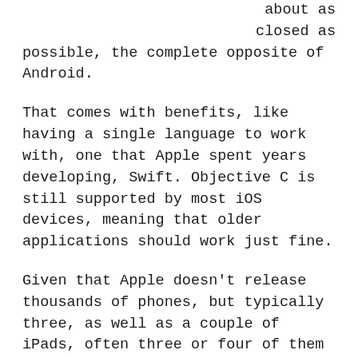about as closed as possible, the complete opposite of Android.
That comes with benefits, like having a single language to work with, one that Apple spent years developing, Swift. Objective C is still supported by most iOS devices, meaning that older applications should work just fine.
Given that Apple doesn't release thousands of phones, but typically three, as well as a couple of iPads, often three or four of them per generation, developers have a much easier job optimizing applications.
This is why some iOS apps can work better than Android ones, but that also depends on the developer.